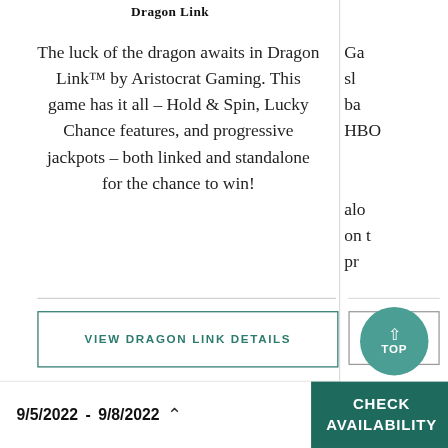Dragon Link
The luck of the dragon awaits in Dragon Link™ by Aristocrat Gaming. This game has it all – Hold & Spin, Lucky Chance features, and progressive jackpots – both linked and standalone for the chance to win!
VIEW DRAGON LINK DETAILS
TOP
9/5/2022  -  9/8/2022
CHECK AVAILABILITY